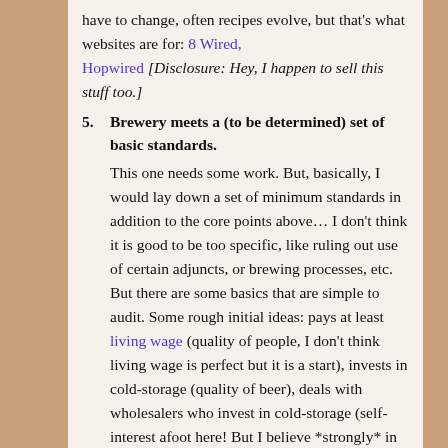have to change, often recipes evolve, but that's what websites are for: 8 Wired, Hopwired [Disclosure: Hey, I happen to sell this stuff too.]
5. Brewery meets a (to be determined) set of basic standards. This one needs some work. But, basically, I would lay down a set of minimum standards in addition to the core points above… I don't think it is good to be too specific, like ruling out use of certain adjuncts, or brewing processes, etc. But there are some basics that are simple to audit. Some rough initial ideas: pays at least living wage (quality of people, I don't think living wage is perfect but it is a start), invests in cold-storage (quality of beer), deals with wholesalers who invest in cold-storage (self-interest afoot here! But I believe *strongly* in improving supply chain in this direction – and the same applies for exporters and foreign distributors), educates employed brewing staff (owner-